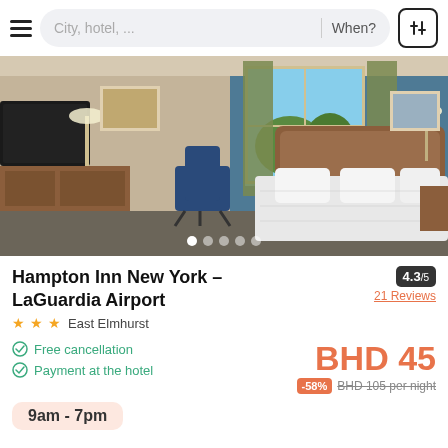[Figure (screenshot): Search bar UI with hamburger menu, city/hotel input, when field, and filter icon]
[Figure (photo): Hotel room photo showing a king bed with white bedding, blue office chair, wooden desk, TV, and blue accent wall]
Hampton Inn New York - LaGuardia Airport
4.3/5
21 Reviews
★ ★ ★  East Elmhurst
Free cancellation
Payment at the hotel
BHD 45
-58%  BHD 105 per night
9am - 7pm